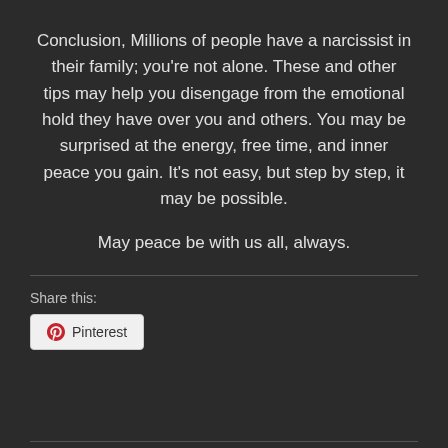Conclusion, Millions of people have a narcissist in their family; you're not alone. These and other tips may help you disengage from the emotional hold they have over you and others. You may be surprised at the energy, free time, and inner peace you gain. It's not easy, but step by step, it may be possible.
May peace be with us all, always.
Share this:
[Figure (other): Pinterest share button with Pinterest logo icon and text 'Pinterest']